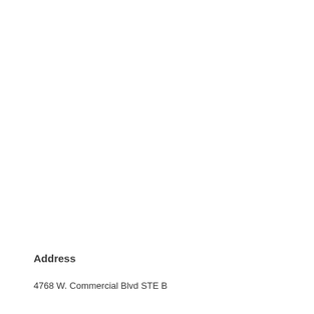Address
4768 W. Commercial Blvd STE B